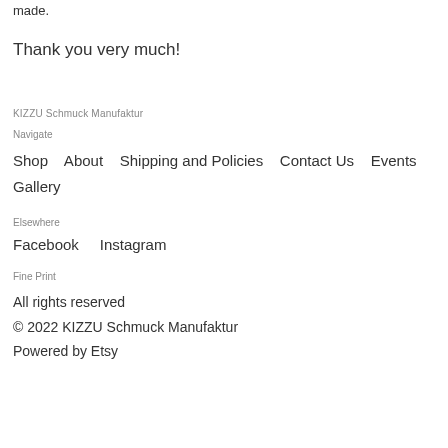made.
Thank you very much!
KIZZU Schmuck Manufaktur
Navigate
Shop
About
Shipping and Policies
Contact Us
Events
Gallery
Elsewhere
Facebook
Instagram
Fine Print
All rights reserved
© 2022 KIZZU Schmuck Manufaktur
Powered by Etsy